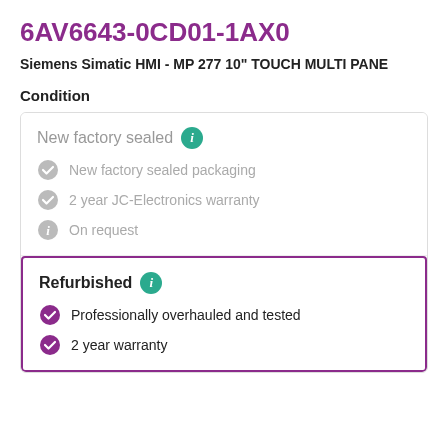6AV6643-0CD01-1AX0
Siemens Simatic HMI - MP 277 10" TOUCH MULTI PANE
Condition
New factory sealed
New factory sealed packaging
2 year JC-Electronics warranty
On request
Refurbished
Professionally overhauled and tested
2 year warranty